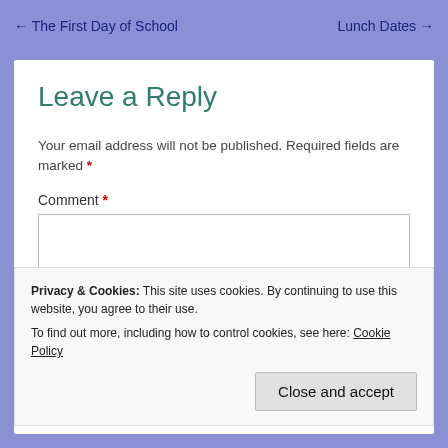← The First Day of School    Lunch Dates →
Leave a Reply
Your email address will not be published. Required fields are marked *
Comment *
Privacy & Cookies: This site uses cookies. By continuing to use this website, you agree to their use. To find out more, including how to control cookies, see here: Cookie Policy
Close and accept